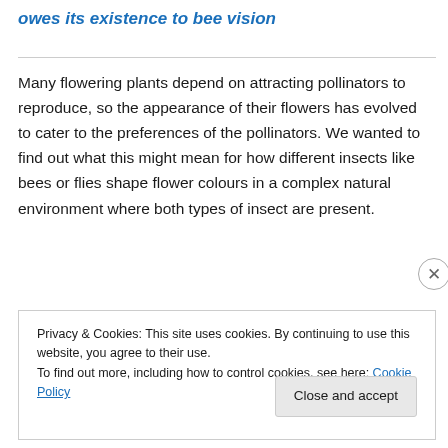owes its existence to bee vision
Many flowering plants depend on attracting pollinators to reproduce, so the appearance of their flowers has evolved to cater to the preferences of the pollinators. We wanted to find out what this might mean for how different insects like bees or flies shape flower colours in a complex natural environment where both types of insect are present.
Privacy & Cookies: This site uses cookies. By continuing to use this website, you agree to their use.
To find out more, including how to control cookies, see here: Cookie Policy
Close and accept